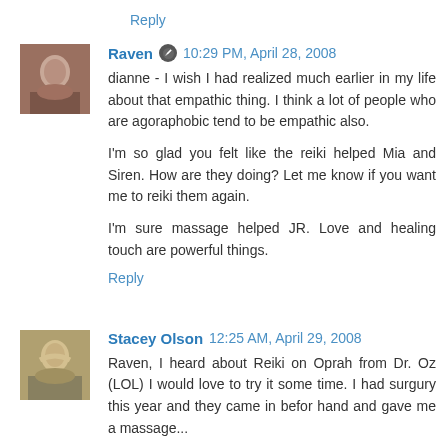Reply
Raven  10:29 PM, April 28, 2008
dianne - I wish I had realized much earlier in my life about that empathic thing. I think a lot of people who are agoraphobic tend to be empathic also.

I'm so glad you felt like the reiki helped Mia and Siren. How are they doing? Let me know if you want me to reiki them again.

I'm sure massage helped JR. Love and healing touch are powerful things.
Reply
Stacey Olson  12:25 AM, April 29, 2008
Raven, I heard about Reiki on Oprah from Dr. Oz (LOL) I would love to try it some time. I had surgury this year and they came in befor hand and gave me a massage...